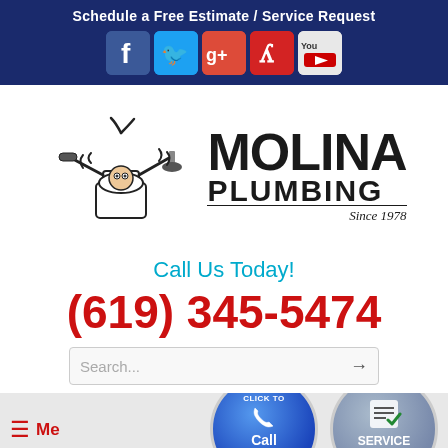Schedule a Free Estimate / Service Request
[Figure (illustration): Social media icons: Facebook, Twitter, Google+, Yelp, YouTube]
[Figure (logo): Molina Plumbing Since 1978 logo with cartoon plumber character]
Call Us Today!
(619) 345-5474
[Figure (screenshot): Search bar with placeholder text 'Search...' and arrow button]
[Figure (infographic): Click to Call Now circular button and Service Request circular button at bottom]